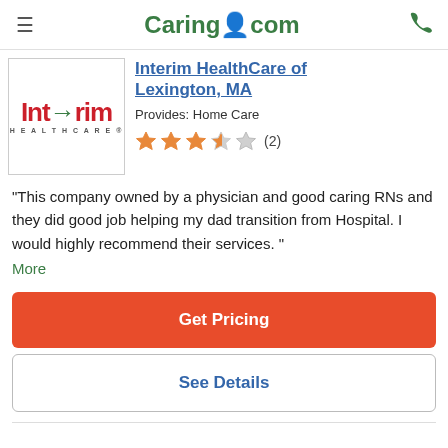Caring.com
[Figure (logo): Interim HealthCare logo with red stylized text and green arrow]
Interim HealthCare of Lexington, MA
Provides: Home Care
[Figure (other): 3.5 out of 5 stars rating with (2) reviews]
"This company owned by a physician and good caring RNs and they did good job helping my dad transition from Hospital. I would highly recommend their services. " More
Get Pricing
See Details